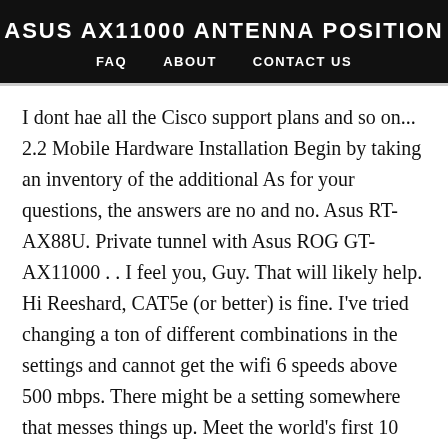ASUS AX11000 ANTENNA POSITION
FAQ   ABOUT   CONTACT US
I dont hae all the Cisco support plans and so on... 2.2 Mobile Hardware Installation Begin by taking an inventory of the additional As for your questions, the answers are no and no. Asus RT-AX88U. Private tunnel with Asus ROG GT-AX11000 . . I feel you, Guy. That will likely help. Hi Reeshard, CAT5e (or better) is fine. I've tried changing a ton of different combinations in the settings and cannot get the wifi 6 speeds above 500 mbps. There might be a setting somewhere that messes things up. Meet the world's first 10 Gigabit Wi-Fi router – Asus ROG